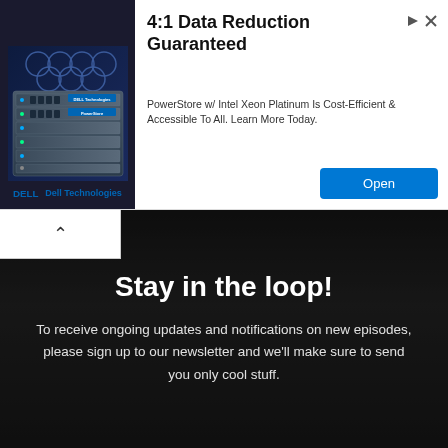[Figure (infographic): Dell Technologies advertisement banner showing a server rack image on the left, with headline '4:1 Data Reduction Guaranteed', body text about PowerStore with Intel Xeon Platinum, and an Open button. Dell Technologies logo and name below server image.]
Stay in the loop!
To receive ongoing updates and notifications on new episodes, please sign up to our newsletter and we'll make sure to send you only cool stuff.